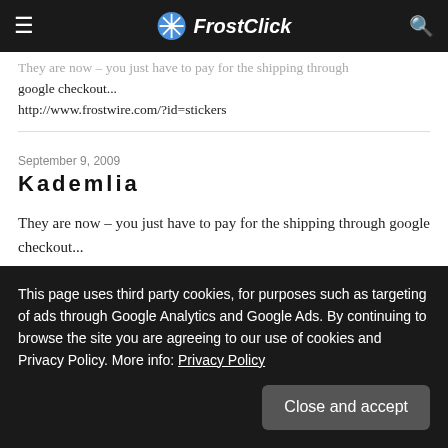FrostClick
They are now – you just have to pay for the shipping through google checkout...
http://www.frostwire.com/?id=stickers
September 9, 2009
Kademlia
They are now – you just have to pay for the shipping through google checkout...
September 9, 2009
Gubatron
This page uses third party cookies, for purposes such as targeting of ads through Google Analytics and Google Ads. By continuing to browse the site you are agreeing to our use of cookies and Privacy Policy. More info: Privacy Policy